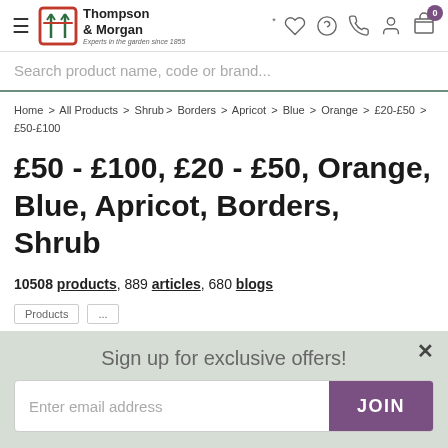Thompson & Morgan — navigation header with hamburger, logo, wishlist, help, phone, account, and cart (0) icons
Search product name, code or brand...
Home > All Products > Shrub > Borders > Apricot > Blue > Orange > £20-£50 > £50-£100
£50 - £100, £20 - £50, Orange, Blue, Apricot, Borders, Shrub
10508 products, 889 articles, 680 blogs
Sign up for exclusive offers!
Enter email address  JOIN